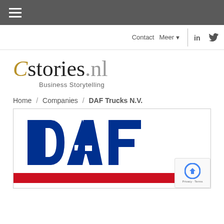☰ (hamburger menu)
Contact  Meer ▼  |  in  🐦
Cstories.nl Business Storytelling
Home / Companies / DAF Trucks N.V.
[Figure (logo): DAF Trucks logo — large blue DAF letters on white background with red stripe at bottom]